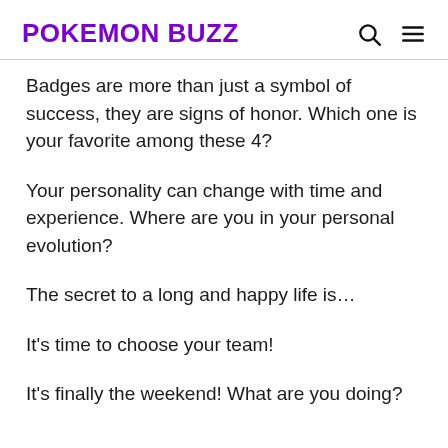POKEMON BUZZ
Badges are more than just a symbol of success, they are signs of honor. Which one is your favorite among these 4?
Your personality can change with time and experience. Where are you in your personal evolution?
The secret to a long and happy life is…
It's time to choose your team!
It's finally the weekend! What are you doing?